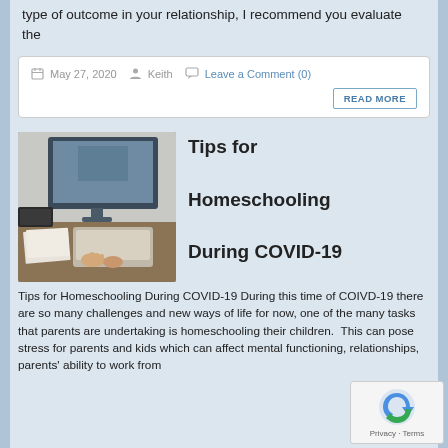type of outcome in your relationship, I recommend you evaluate the
May 27, 2020   Keith   Leave a Comment (0)
READ MORE
[Figure (photo): Person typing on a laptop at a wooden desk with a monitor in the background]
Tips for Homeschooling During COVID-19
Tips for Homeschooling During COVID-19 During this time of COIVD-19 there are so many challenges and new ways of life for now, one of the many tasks that parents are undertaking is homeschooling their children.  This can pose stress for parents and kids which can affect mental functioning, relationships, parents' ability to work from